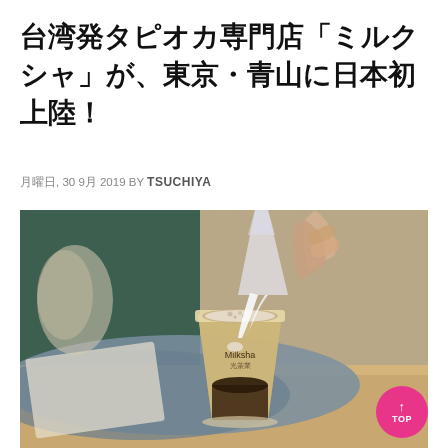台湾発タピオカ専門店「ミルクシャ」が、東京・青山に日本初上陸！
月曜日, 30 9月 2019 BY TSUCHIYA
[Figure (photo): A hand pouring milk from a glass pitcher into a Milksha branded bubble tea cup with tapioca pearls, placed on a wooden surface with a blue cloth and dried flowers in the background against a dark green backdrop.]